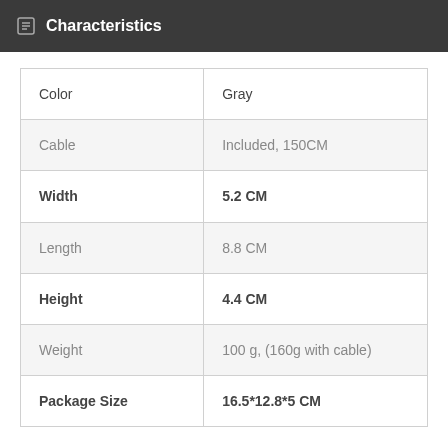Characteristics
|  |  |
| --- | --- |
| Color | Gray |
| Cable | Included, 150CM |
| Width | 5.2 CM |
| Length | 8.8 CM |
| Height | 4.4 CM |
| Weight | 100 g, (160g with cable) |
| Package Size | 16.5*12.8*5 CM |
Package Content